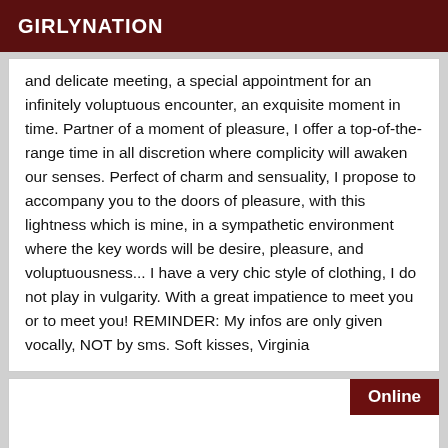GIRLYNATION
and delicate meeting, a special appointment for an infinitely voluptuous encounter, an exquisite moment in time. Partner of a moment of pleasure, I offer a top-of-the-range time in all discretion where complicity will awaken our senses. Perfect of charm and sensuality, I propose to accompany you to the doors of pleasure, with this lightness which is mine, in a sympathetic environment where the key words will be desire, pleasure, and voluptuousness... I have a very chic style of clothing, I do not play in vulgarity. With a great impatience to meet you or to meet you! REMINDER: My infos are only given vocally, NOT by sms. Soft kisses, Virginia
Online